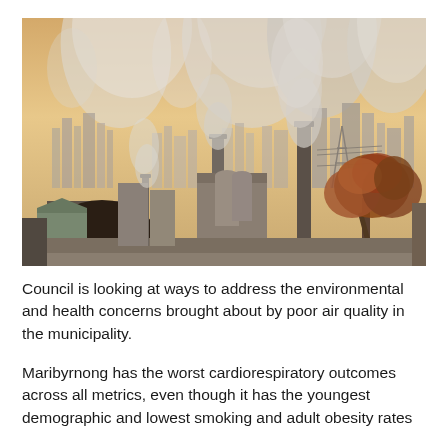[Figure (photo): Industrial cityscape with factory chimneys and smokestacks emitting large plumes of white smoke or steam, with a city skyline visible in the background. A tree with autumn foliage and industrial buildings appear in the foreground. The sky has a warm, hazy orange-yellow tone from apparent air pollution.]
Council is looking at ways to address the environmental and health concerns brought about by poor air quality in the municipality.
Maribyrnong has the worst cardiorespiratory outcomes across all metrics, even though it has the youngest demographic and lowest smoking and adult obesity rates